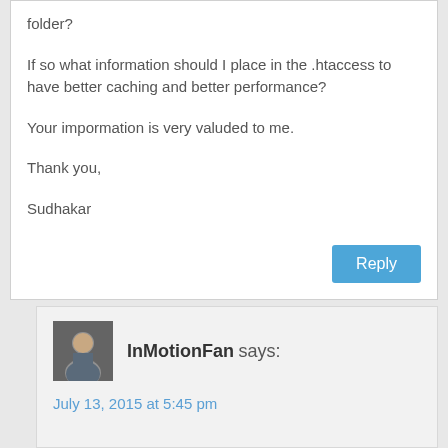folder?
If so what information should I place in the .htaccess to have better caching and better performance?
Your impormation is very valuded to me.
Thank you,
Sudhakar
InMotionFan says:
July 13, 2015 at 5:45 pm